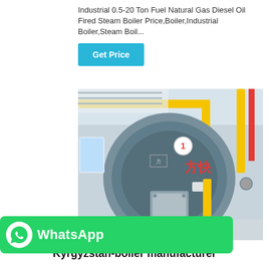Industrial 0.5-20 Ton Fuel Natural Gas Diesel Oil Fired Steam Boiler Price,Boiler,Industrial Boiler,Steam Boil...
Get Price
[Figure (photo): Industrial natural gas fired steam boiler in a factory setting. The boiler is a large cylindrical grey vessel with Chinese characters (方快) and a number 1 emblem on the front. Yellow gas pipes run overhead and to the right. The facility has white walls and industrial equipment.]
[Figure (logo): WhatsApp logo and branding bar in green]
Natural Gas Boiler Kyrgyzstan-boiler manufacturer